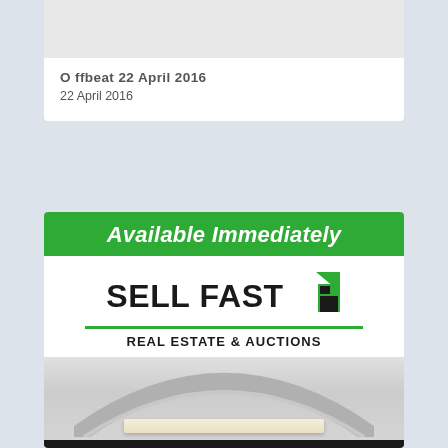[Figure (photo): Light gray placeholder image at top of card]
Offbeat 22 April 2016
22 April 2016
[Figure (advertisement): Sell Fast Real Estate & Auctions advertisement with green 'Available Immediately' banner, company logo with house icon, green underline, and a photo of a building with arch and ledge below]